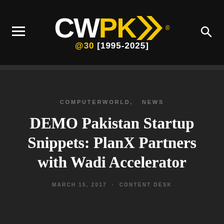CWPK® @30 [1995-2025]
COMPUTERWORLD, NEWS
DEMO Pakistan Startup Snippets: PlanX Partners with Wadi Accelerator
MARCH 15, 2017 · CONTENT DESK